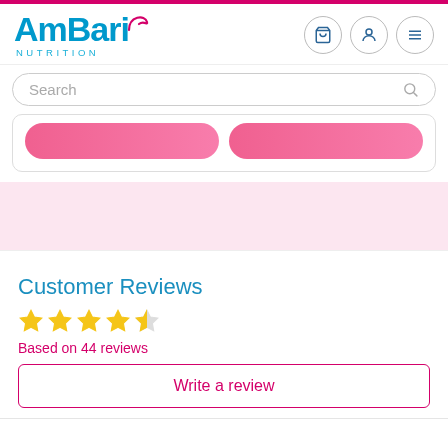[Figure (logo): AmBari Nutrition logo with pink curl accent and teal/blue text]
Search
[Figure (other): Two pink rounded rectangle buttons side by side in a card]
[Figure (other): Pink background section]
Customer Reviews
[Figure (other): 4.5 star rating - four full stars and one half star in yellow]
Based on 44 reviews
Write a review